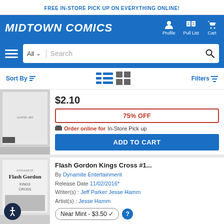FREE IN-STORE PICK UP ON EVERYTHING ONLINE!
[Figure (logo): Midtown Comics logo with navigation icons for Profile, Pull List, and Cart on blue background]
[Figure (screenshot): Search bar with All dropdown and search icon on blue background with hamburger menu]
Sort By | Filters
[Figure (illustration): Black and white comic book cover art with action scene]
$2.10
75% OFF
Order online for In-Store Pick up
ADD TO CART
Flash Gordon Kings Cross #1...
By Dynamite Entertainment
Release Date 11/02/2016*
Writer(s): Jeff Parker Jesse Hamm
Artist(s): Jesse Hamm
Near Mint - $3.50